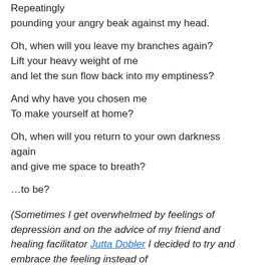Repeatingly
pounding your angry beak against my head.
Oh, when will you leave my branches again?
Lift your heavy weight of me
and let the sun flow back into my emptiness?
And why have you chosen me
To make yourself at home?
Oh, when will you return to your own darkness again
and give me space to breath?
…to be?
(Sometimes I get overwhelmed by feelings of depression and on the advice of my friend and  healing facilitator Jutta Dobler I decided to try and embrace the feeling instead of